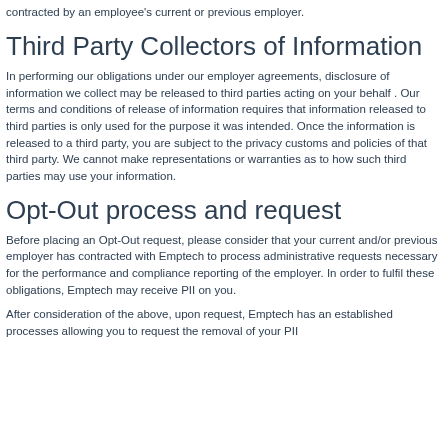contracted by an employee's current or previous employer.
Third Party Collectors of Information
In performing our obligations under our employer agreements, disclosure of information we collect may be released to third parties acting on your behalf . Our terms and conditions of release of information requires that information released to third parties is only used for the purpose it was intended. Once the information is released to a third party, you are subject to the privacy customs and policies of that third party. We cannot make representations or warranties as to how such third parties may use your information.
Opt-Out process and request
Before placing an Opt-Out request, please consider that your current and/or previous employer has contracted with Emptech to process administrative requests necessary for the performance and compliance reporting of the employer. In order to fulfil these obligations, Emptech may receive PII on you.
After consideration of the above, upon request, Emptech has an established processes allowing you to request the removal of your PII